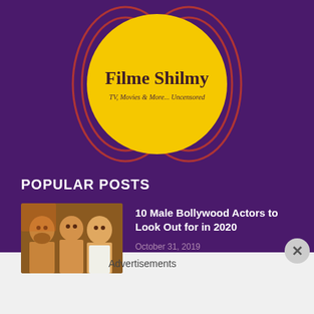[Figure (logo): Filme Shilmy logo — yellow circle with decorative red mandala petals on purple background. Text: 'Filme Shilmy' and 'TV, Movies & More... Uncensored']
POPULAR POSTS
[Figure (photo): Thumbnail image showing three male Bollywood actors side by side]
10 Male Bollywood Actors to Look Out for in 2020
October 31, 2019
Advertisements